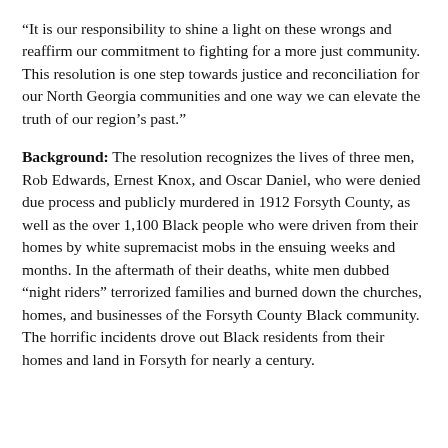“It is our responsibility to shine a light on these wrongs and reaffirm our commitment to fighting for a more just community. This resolution is one step towards justice and reconciliation for our North Georgia communities and one way we can elevate the truth of our region’s past.”
Background: The resolution recognizes the lives of three men, Rob Edwards, Ernest Knox, and Oscar Daniel, who were denied due process and publicly murdered in 1912 Forsyth County, as well as the over 1,100 Black people who were driven from their homes by white supremacist mobs in the ensuing weeks and months. In the aftermath of their deaths, white men dubbed “night riders” terrorized families and burned down the churches, homes, and businesses of the Forsyth County Black community. The horrific incidents drove out Black residents from their homes and land in Forsyth for nearly a century.